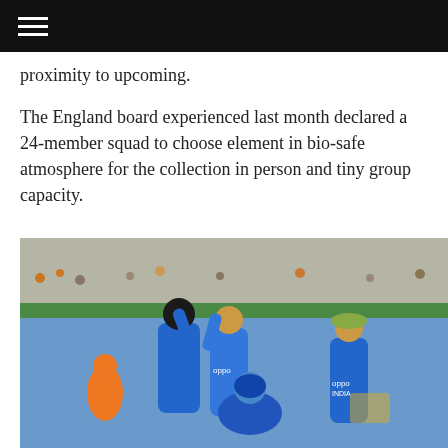≡
proximity to upcoming.
The England board experienced last month declared a 24-member squad to choose element in bio-safe atmosphere for the collection in person and tiny group capacity.
[Figure (photo): Indian women's cricket team players in blue jerseys celebrating on the field, high-fiving each other during a match, with crowd in the background.]